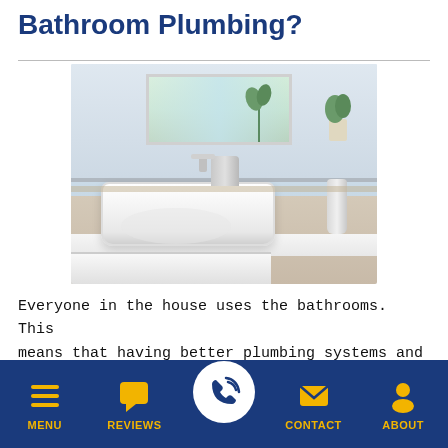Bathroom Plumbing?
[Figure (photo): Modern white bathroom sink with chrome faucet and soap dispenser on a white countertop, with a window and plants in the background]
Everyone in the house uses the bathrooms. This means that having better plumbing systems and appliances in this room of the home is a good idea. After all, everyone depends on it. Upgrading the...
MENU | REVIEWS | [call button] | CONTACT | ABOUT